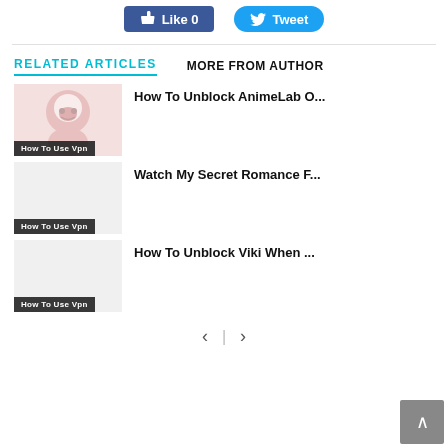[Figure (screenshot): Facebook Like button with count 0 and Twitter Tweet button]
RELATED ARTICLES
MORE FROM AUTHOR
[Figure (illustration): Thumbnail image with a ninja/avatar logo on pink background, with tag 'How To Use Vpn']
How To Unblock AnimeLab O...
[Figure (illustration): Empty grey thumbnail with tag 'How To Use Vpn']
Watch My Secret Romance F...
[Figure (illustration): Empty grey thumbnail with tag 'How To Use Vpn']
How To Unblock Viki When ...
[Figure (screenshot): Pagination arrows: left < and right > with separator and back-to-top button]